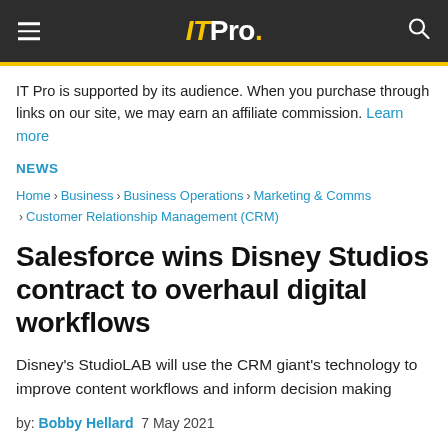IT Pro.
IT Pro is supported by its audience. When you purchase through links on our site, we may earn an affiliate commission. Learn more
NEWS
Home > Business > Business Operations > Marketing & Comms > Customer Relationship Management (CRM)
Salesforce wins Disney Studios contract to overhaul digital workflows
Disney's StudioLAB will use the CRM giant's technology to improve content workflows and inform decision making
by: Bobby Hellard  7 May 2021